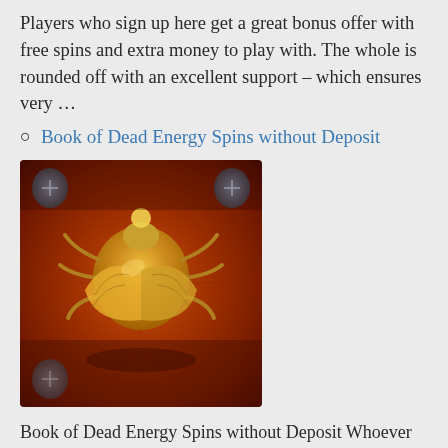Players who sign up here get a great bonus offer with free spins and extra money to play with. The whole is rounded off with an excellent support – which ensures very …
Book of Dead Energy Spins without Deposit
[Figure (photo): Image of the Book of Dead slot game cover — a golden scarab beetle design on a reddish-brown book cover.]
Book of Dead Energy Spins without Deposit Whoever wants to play the famous Book of Dead slot, should grab these Energy Spins without Deposit. They are offered as part of the Welcome Bonus at the Energy Casino. The player only register in the Casino – it's quick in